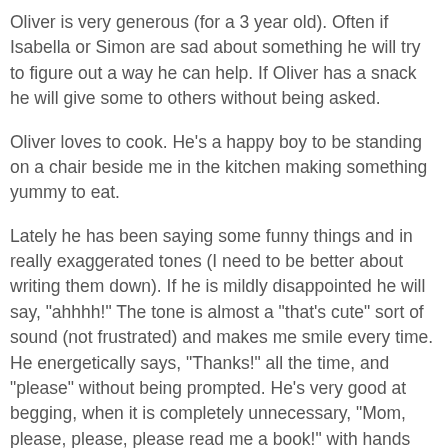Oliver is very generous (for a 3 year old).  Often if Isabella or Simon are sad about something he will try to figure out a way he can help.  If Oliver has a snack he will give some to others without being asked.
Oliver loves to cook.  He's a happy boy to be standing on a chair beside me in the kitchen making something yummy to eat.
Lately he has been saying some funny things and in really exaggerated tones (I need to be better about writing them down).  If he is mildly disappointed he will say, "ahhhh!"  The tone is almost a "that's cute" sort of sound (not frustrated) and makes me smile every time.  He energetically says, "Thanks!" all the time, and "please" without being prompted.  He's very good at begging, when it is completely unnecessary, "Mom, please, please, please read me a book!" with hands clasped tight and eyes all puppy-dog-ish.  "please, please, please can I eat an apple".  Of course I say, "yes" and he gives me a huge hug like I'm the greatest person ever.  It's pretty adorable.